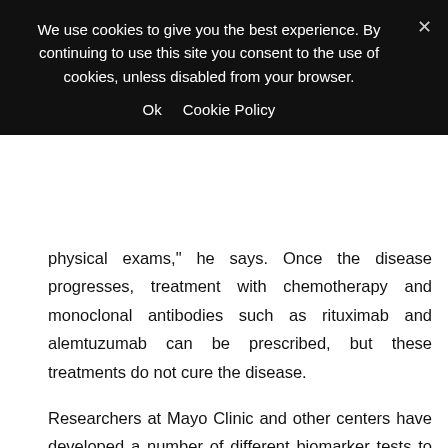[Figure (screenshot): Cookie consent banner with black background. Text: 'We use cookies to give you the best experience. By continuing to use this site you consent to the use of cookies, unless disabled from your browser.' with 'Ok' and 'Cookie Policy' links, and an X close button.]
physical exams," he says. Once the disease progresses, treatment with chemotherapy and monoclonal antibodies such as rituximab and alemtuzumab can be prescribed, but these treatments do not cure the disease.
Researchers at Mayo Clinic and other centers have developed a number of different biomarker tests to predict, with reasonable certainty, which patients are at high-, low- or moderate-risk for progression of their cancer. They have found that testing CLL cells for overproduction of CD38 and ZAP-70 proteins, and analyzing the altered state of several genes as well as chromosomal defects in the cells can significantly predict cancer that will grow faster.